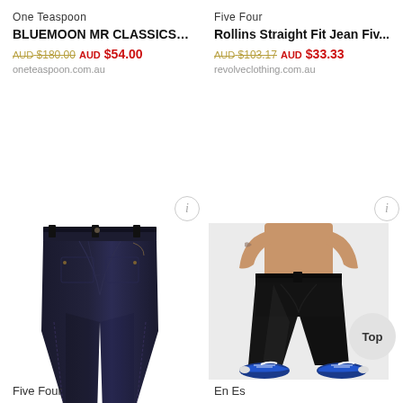One Teaspoon
BLUEMOON MR CLASSICS S...
AUD $180.00 AUD $54.00
oneteaspoon.com.au
Five Four
Rollins Straight Fit Jean Fiv...
AUD $103.17 AUD $33.33
revolveclothing.com.au
[Figure (photo): Dark navy/black straight-leg jeans displayed flat against white background]
[Figure (photo): Man wearing black straight-fit jeans with blue Nike sneakers, shirtless, shown from waist down against light grey background]
Five Four
En Es